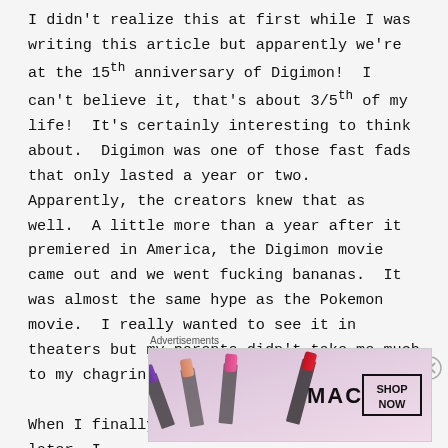I didn't realize this at first while I was writing this article but apparently we're at the 15th anniversary of Digimon!  I can't believe it, that's about 3/5th of my life!  It's certainly interesting to think about.  Digimon was one of those fast fads that only lasted a year or two.  Apparently, the creators knew that as well.  A little more than a year after it premiered in America, the Digimon movie came out and we went fucking bananas.  It was almost the same hype as the Pokemon movie.  I really wanted to see it in theaters but my parents didn't take me much to my chagrin.

When I finally saw it on VHS about a year later, I realized that this was not a very good movie.
Advertisements
[Figure (photo): MAC cosmetics advertisement banner showing lipsticks in purple, peach, pink, and red colors, with MAC logo and SHOP NOW button]